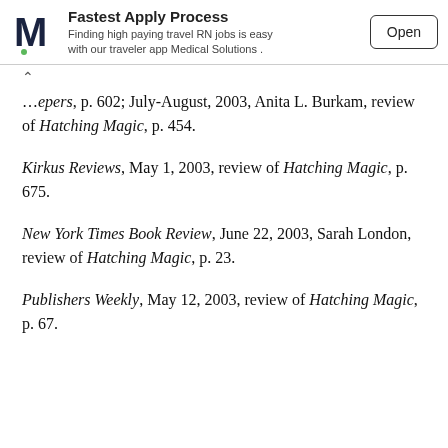[Figure (other): Advertisement banner: Medical Solutions logo (M), heading 'Fastest Apply Process', subtext 'Finding high paying travel RN jobs is easy with our traveler app Medical Solutions', and an 'Open' button]
...eepers, p. 602; July-August, 2003, Anita L. Burkam, review of Hatching Magic, p. 454.
Kirkus Reviews, May 1, 2003, review of Hatching Magic, p. 675.
New York Times Book Review, June 22, 2003, Sarah London, review of Hatching Magic, p. 23.
Publishers Weekly, May 12, 2003, review of Hatching Magic, p. 67.